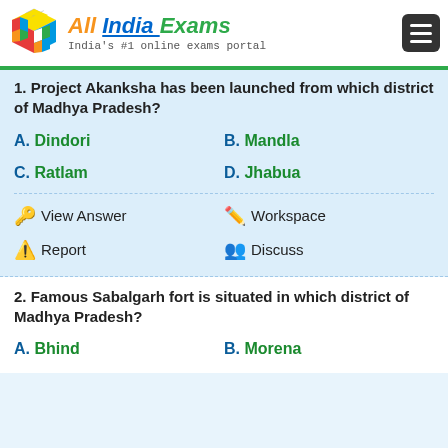All India Exams — India's #1 online exams portal
1. Project Akanksha has been launched from which district of Madhya Pradesh?
A. Dindori
B. Mandla
C. Ratlam
D. Jhabua
View Answer
Workspace
Report
Discuss
2. Famous Sabalgarh fort is situated in which district of Madhya Pradesh?
A. Bhind
B. Morena